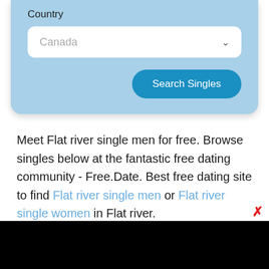Country
[Figure (screenshot): A dropdown selector showing 'Canada' with a chevron arrow, inside a blue panel with a 'Search Singles' button]
Meet Flat river single men for free. Browse singles below at the fantastic free dating community - Free.Date. Best free dating site to find Flat river single men or Flat river single women in Flat river.
[Figure (screenshot): A black bar at the bottom of the page with a red X close button]